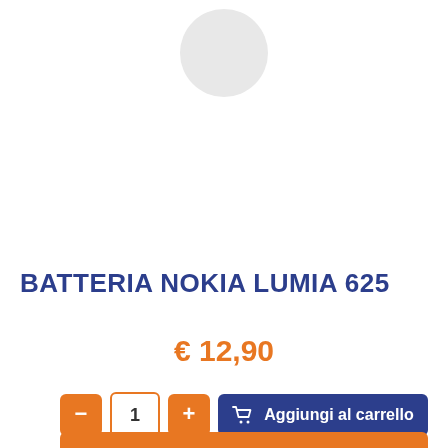[Figure (photo): Product image placeholder showing a light gray circle on white background, representing a Nokia Lumia 625 battery product image.]
BATTERIA NOKIA LUMIA 625
€ 12,90
- 1 + Aggiungi al carrello